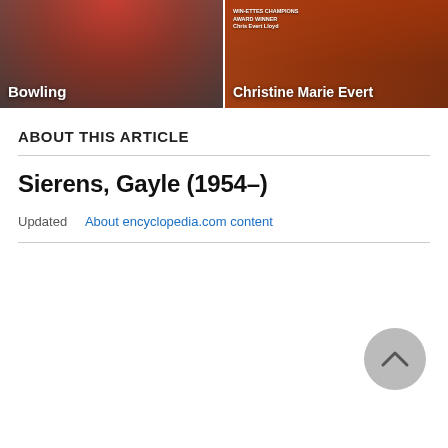[Figure (photo): Two thumbnail images side by side: left shows a person bowling with text 'Bowling', right shows Christine Marie Evert holding a tennis racket with text 'Christine Marie Evert' and smaller text above.]
ABOUT THIS ARTICLE
Sierens, Gayle (1954–)
Updated   About encyclopedia.com content